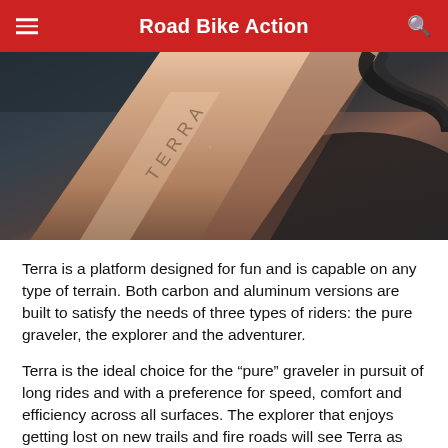Road Bike Action
[Figure (photo): Close-up macro photograph of a rose-gold/copper colored bicycle frame tube with the word TERRA etched or branded on the surface, set against a dark blurred background with some black fabric or material visible.]
Terra is a platform designed for fun and is capable on any type of terrain. Both carbon and aluminum versions are built to satisfy the needs of three types of riders: the pure graveler, the explorer and the adventurer.
Terra is the ideal choice for the “pure” graveler in pursuit of long rides and with a preference for speed, comfort and efficiency across all surfaces. The explorer that enjoys getting lost on new trails and fire roads will see Terra as the perfect tool for the job. And the adventurer will appreciate Terra for its ability to handle